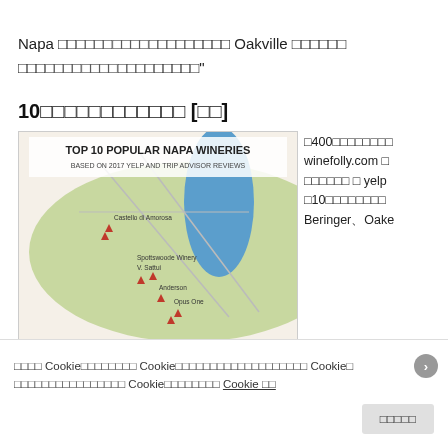Napa ワインカントリーの中心にある Oakville のワイナリーをご紹介します。
10大人気ナパバレーワイナリー [編集]
[Figure (map): Top 10 Popular Napa Wineries map based on 2017 Yelp and Trip Advisor reviews. Shows a green valley map with blue lake region and red diamond markers indicating winery locations including Castello di Amorosa, Spottswoode Winery, V. Sattui, Anderson, and Opus One.]
約400のワイナリーのリストから、winefolly.com のデータを使って絞り込み、yelp のレビューを基に上位10のワイナリーを選出。Beringer、Oakville...
このサイトは Cookie を使用しています。Cookie の詳細については、プライバシーポリシーをご参照ください。Cookie を引き続き使用するには、Cookie の同意 Cookie 설정